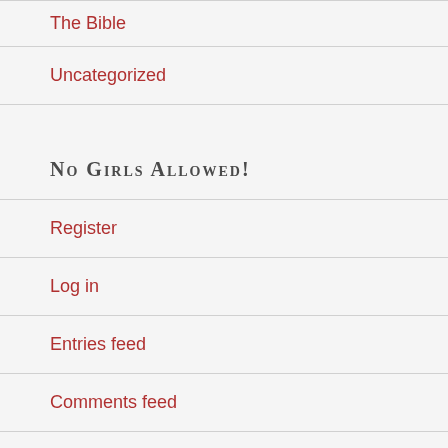The Bible
Uncategorized
NO GIRLS ALLOWED!
Register
Log in
Entries feed
Comments feed
WordPress.com